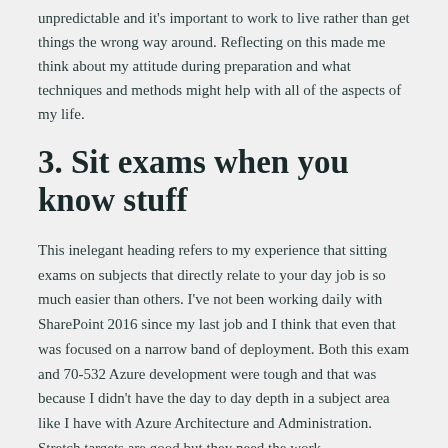unpredictable and it's important to work to live rather than get things the wrong way around. Reflecting on this made me think about my attitude during preparation and what techniques and methods might help with all of the aspects of my life.
3. Sit exams when you know stuff
This inelegant heading refers to my experience that sitting exams on subjects that directly relate to your day job is so much easier than others. I've not been working daily with SharePoint 2016 since my last job and I think that even that was focused on a narrow band of deployment. Both this exam and 70-532 Azure development were tough and that was because I didn't have the day to day depth in a subject area like I have with Azure Architecture and Administration. Stretch targets are good but they need the work.
4. Sit exams when they are